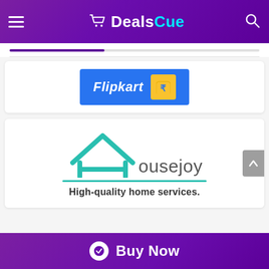[Figure (logo): DealsCue website header with purple gradient background, hamburger menu on left, shopping cart + DealsCue logo in center-left, and search icon on right]
[Figure (logo): Flipkart logo on blue background with shopping bag icon containing rupee symbol]
[Figure (logo): Housejoy logo with teal house icon and 'Housejoy' text, underline, and tagline 'High-quality home services.']
Buy Now